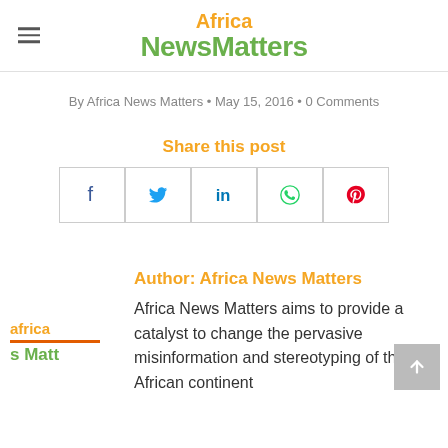Africa News Matters
By Africa News Matters • May 15, 2016 • 0 Comments
Share this post
[Figure (infographic): Social share buttons: Facebook, Twitter, LinkedIn, WhatsApp, Pinterest]
Author: Africa News Matters
[Figure (logo): Africa News Matters logo (partially visible)]
Africa News Matters aims to provide a catalyst to change the pervasive misinformation and stereotyping of the African continent